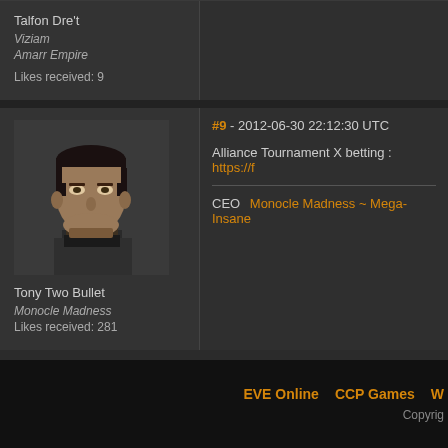Talfon Dre't
Viziam
Amarr Empire
Likes received: 9
[Figure (photo): Portrait of Tony Two Bullet, a male game character with dark hair, wearing dark armor, rendered in a sci-fi game art style.]
Tony Two Bullet
Monocle Madness
Likes received: 281
#9 - 2012-06-30 22:12:30 UTC
Alliance Tournament X betting : https://f
CEO  Monocle Madness ~ Mega-Insane
EVE Online    CCP Games    W
Copyrig